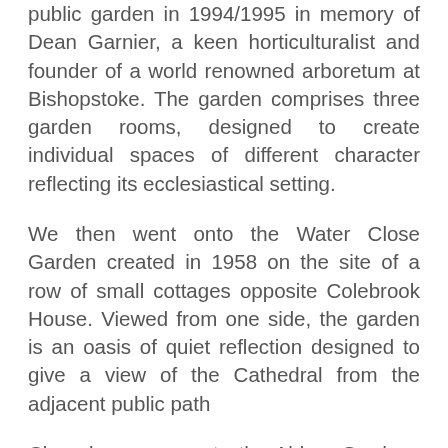public garden in 1994/1995 in memory of Dean Garnier, a keen horticulturalist and founder of a world renowned arboretum at Bishopstoke. The garden comprises three garden rooms, designed to create individual spaces of different character reflecting its ecclesiastical setting.
We then went onto the Water Close Garden created in 1958 on the site of a row of small cottages opposite Colebrook House. Viewed from one side, the garden is an oasis of quiet reflection designed to give a view of the Cathedral from the adjacent public path
Close by we came to the Abbey Gardens next to Abbey House. The Garden Temple with its Doric portico and 4 columns was erected in 1759 originally to screen the Abbey Mill from views from the house and